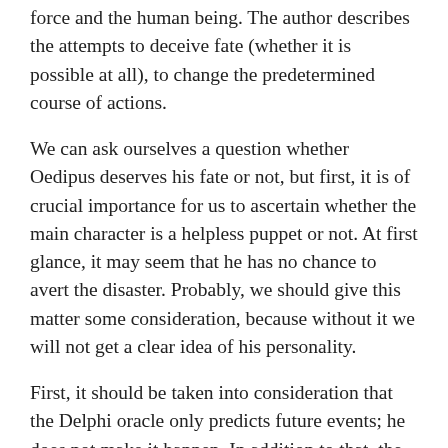force and the human being. The author describes the attempts to deceive fate (whether it is possible at all), to change the predetermined course of actions.
We can ask ourselves a question whether Oedipus deserves his fate or not, but first, it is of crucial importance for us to ascertain whether the main character is a helpless puppet or not. At first glance, it may seem that he has no chance to avert the disaster. Probably, we should give this matter some consideration, because without it we will not get a clear idea of his personality.
First, it should be taken into consideration that the Delphi oracle only predicts future events; he does not make it happen. In addition to that, the oracle gives Oedipus the chance to choose. For example, no one compels Oedipus to kill his father, Laius, besides, his decision to take Jocasta as his wife is not in the least predetermined by some high power.